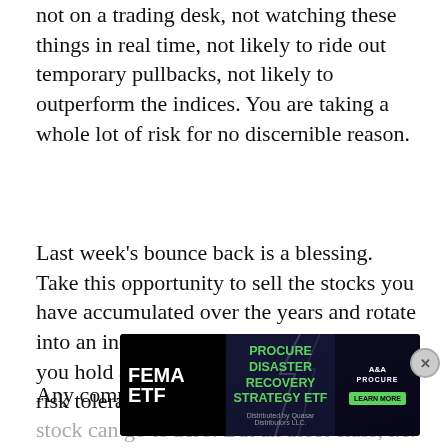not on a trading desk, not watching these things in real time, not likely to ride out temporary pullbacks, not likely to outperform the indices. You are taking a whole lot of risk for no discernible reason.
Last week's bounce back is a blessing. Take this opportunity to sell the stocks you have accumulated over the years and rotate into an index fund. I bet many of the stocks you hold are no longer consistent with your risk tolerance or long-term goals.
Any company can file for bankruptcy, any stock can go to zero. But an asset class, i.e. US S[...] Domestic Mega Caps — cannot.
[Figure (other): Advertisement banner for FEMA ETF — Procure Disaster Recovery Strategy ETF. Shows FEMA ETF logo on dark background with green text 'PROCURE DISASTER RECOVERY STRATEGY ETF', distributed by Quasar Distributors LLC, with PROCURE logo and green 'LEARN MORE' button. A close (X) button appears at top right of the ad.]